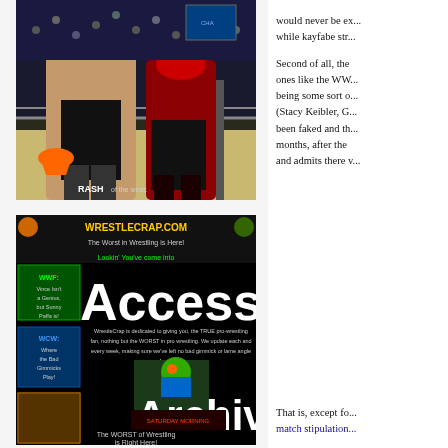[Figure (photo): Wrestling match photo showing wrestlers in a ring, with 'RASH of the week' text visible in lower left corner]
[Figure (photo): WrestleCrap.com advertisement featuring 'Access the Archives!' text with wrestling imagery and website navigation elements]
would never be ex... while kayfabe str...
Second of all, the ones like the WW... being some sort o... (Stacy Keibler, G... been faked and th... months, after the and admits there v...
That is, except fo... match stipulation...